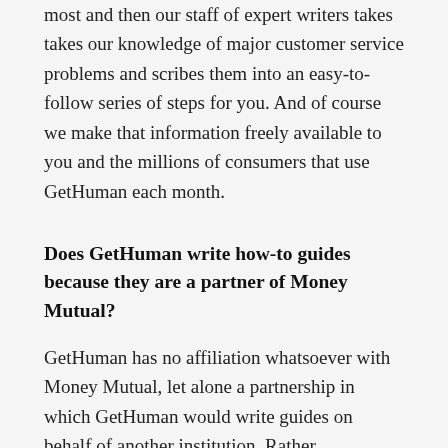most and then our staff of expert writers takes takes our knowledge of major customer service problems and scribes them into an easy-to-follow series of steps for you. And of course we make that information freely available to you and the millions of consumers that use GetHuman each month.
Does GetHuman write how-to guides because they are a partner of Money Mutual?
GetHuman has no affiliation whatsoever with Money Mutual, let alone a partnership in which GetHuman would write guides on behalf of another institution. Rather, GetHuman has been helping customers solve their support problems for over a decade and this is one of many ways we try to provide helpful information. Over the course of these years, many